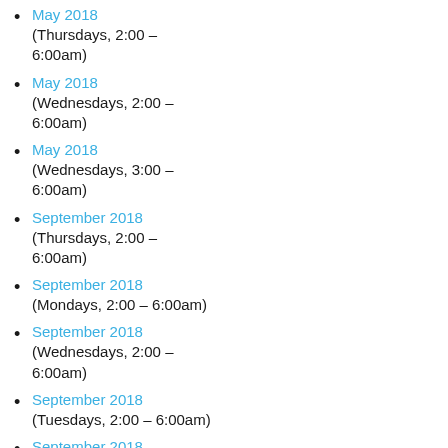May 2018
(Thursdays, 2:00 – 6:00am)
May 2018
(Wednesdays, 2:00 – 6:00am)
May 2018
(Wednesdays, 3:00 – 6:00am)
September 2018
(Thursdays, 2:00 – 6:00am)
September 2018
(Mondays, 2:00 – 6:00am)
September 2018
(Wednesdays, 2:00 – 6:00am)
September 2018
(Tuesdays, 2:00 – 6:00am)
September 2018
(Sundays, 2:00 – 5:00am)
January 2019
(Mondays, 3:00 – 6:00am)
January 2019